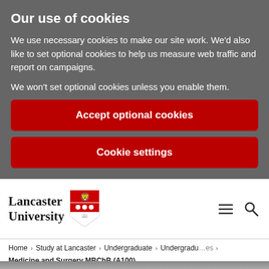Our use of cookies
We use necessary cookies to make our site work. We'd also like to set optional cookies to help us measure web traffic and report on campaigns.
We won't set optional cookies unless you enable them.
Accept optional cookies
Cookie settings
[Figure (logo): Lancaster University logo with shield crest featuring a red lion and roses]
Home > Study at Lancaster > Undergraduate > Undergraduate courses > Medicine and Surgery MBChB (A100)